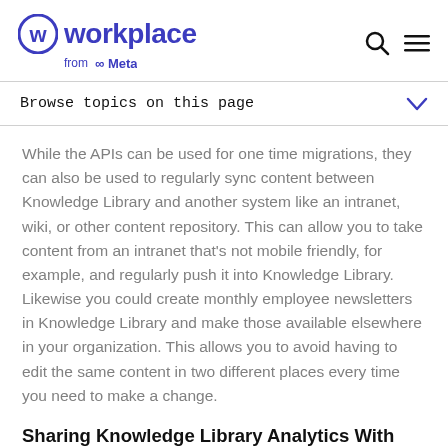workplace from Meta
Browse topics on this page
While the APIs can be used for one time migrations, they can also be used to regularly sync content between Knowledge Library and another system like an intranet, wiki, or other content repository. This can allow you to take content from an intranet that's not mobile friendly, for example, and regularly push it into Knowledge Library. Likewise you could create monthly employee newsletters in Knowledge Library and make those available elsewhere in your organization. This allows you to avoid having to edit the same content in two different places every time you need to make a change.
Sharing Knowledge Library Analytics With Another Tool